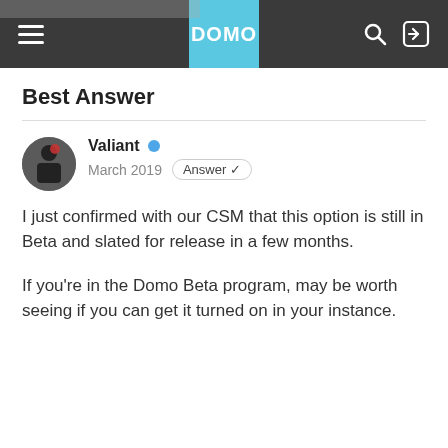[Figure (screenshot): Domo community forum navigation bar with hamburger menu on left, Domo logo in blue center panel, and search and login icons on the right. Dark gray background.]
Best Answer
Valiant · March 2019 · Answer ✓
I just confirmed with our CSM that this option is still in Beta and slated for release in a few months.
If you're in the Domo Beta program, may be worth seeing if you can get it turned on in your instance.